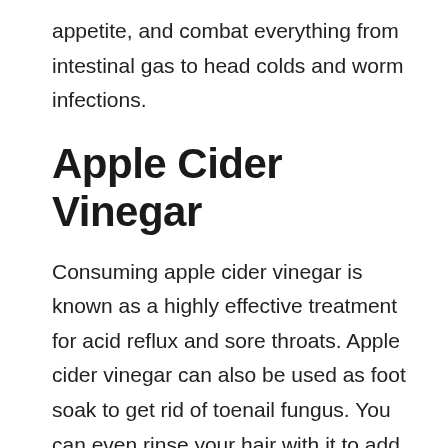appetite, and combat everything from intestinal gas to head colds and worm infections.
Apple Cider Vinegar
Consuming apple cider vinegar is known as a highly effective treatment for acid reflux and sore throats. Apple cider vinegar can also be used as foot soak to get rid of toenail fungus. You can even rinse your hair with it to add shine and use it as a facial toner to fight acne.
Cucumber